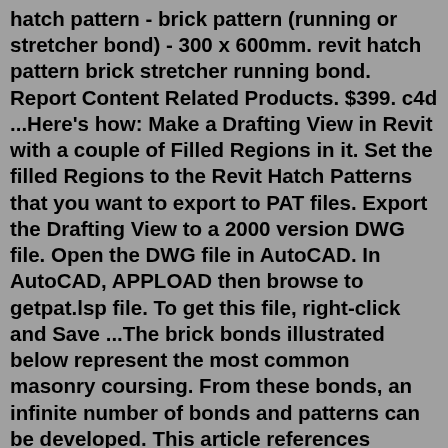hatch pattern - brick pattern (running or stretcher bond) - 300 x 600mm. revit hatch pattern brick stretcher running bond. Report Content Related Products. $399. c4d ...Here's how: Make a Drafting View in Revit with a couple of Filled Regions in it. Set the filled Regions to the Revit Hatch Patterns that you want to export to PAT files. Export the Drafting View to a 2000 version DWG file. Open the DWG file in AutoCAD. In AutoCAD, APPLOAD then browse to getpat.lsp file. To get this file, right-click and Save ...The brick bonds illustrated below represent the most common masonry coursing. From these bonds, an infinite number of bonds and patterns can be developed. This article references headers and stretchers, which are typical brick orientations. You can read more about the various brick orientations in our Brick Sizes, Shapes, and Grades article.Toutes nos formations Revit Architecture Download our most popular Revit families ( Stairs, Railing & Fences) of various sizes, designs, complexities and styles.. All 3D models are tested First, if you want